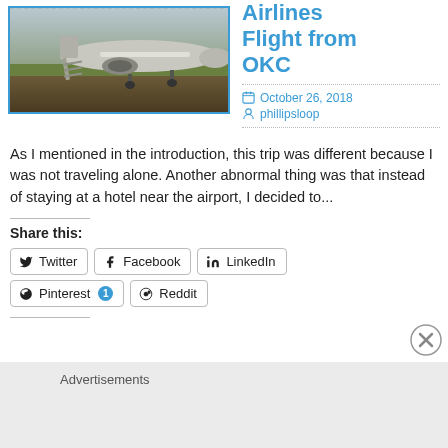[Figure (photo): Airplane parked on tarmac with boarding stairs, greenery in background, warm sunset lighting]
Airlines Flight from OKC
October 26, 2018
phillipsloop
As I mentioned in the introduction, this trip was different because I was not traveling alone. Another abnormal thing was that instead of staying at a hotel near the airport, I decided to...
Share this:
Twitter
Facebook
LinkedIn
Pinterest 1
Reddit
Advertisements